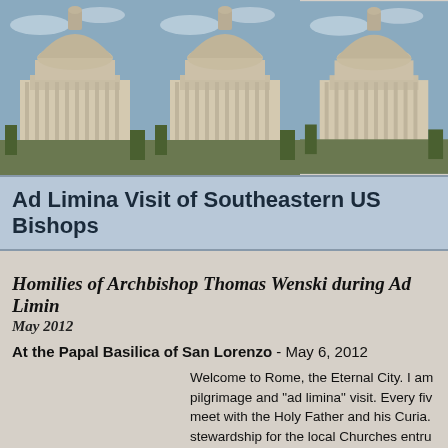[Figure (photo): Three repeated images of St. Peter's Basilica dome in Rome against a blue sky, shown side by side as a banner header.]
Ad Limina Visit of Southeastern US Bishops
Homilies of Archbishop Thomas Wenski during Ad Limina May 2012
At the Papal Basilica of San Lorenzo - May 6, 2012
Welcome to Rome, the Eternal City. I am pilgrimage and "ad limina" visit. Every fi meet with the Holy Father and his Curia. stewardship for the local Churches entru Apostolic See." Besides meeting with th we also have the opportunity to pray at founders of the Church here in Rome.
All this is done to strengthen - effectively Bishop of Rome. This unity in the Chur Peter and under Peter.
In today's first reading from the Acts of th